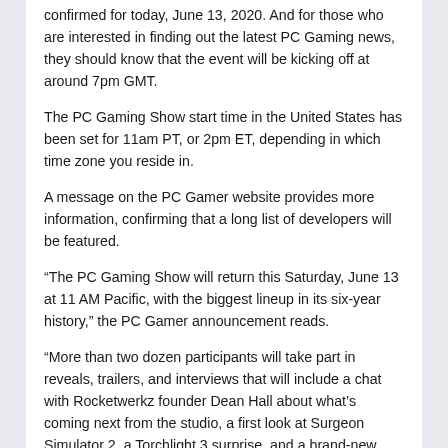confirmed for today, June 13, 2020. And for those who are interested in finding out the latest PC Gaming news, they should know that the event will be kicking off at around 7pm GMT.
The PC Gaming Show start time in the United States has been set for 11am PT, or 2pm ET, depending in which time zone you reside in.
A message on the PC Gamer website provides more information, confirming that a long list of developers will be featured.
“The PC Gaming Show will return this Saturday, June 13 at 11 AM Pacific, with the biggest lineup in its six-year history,” the PC Gamer announcement reads.
“More than two dozen participants will take part in reveals, trailers, and interviews that will include a chat with Rocketwerkz founder Dean Hall about what’s coming next from the studio, a first look at Surgeon Simulator 2, a Torchlight 3 surprise, and a brand-new trailer from Dusk and Amid Evil publisher New Blood Interactive.”